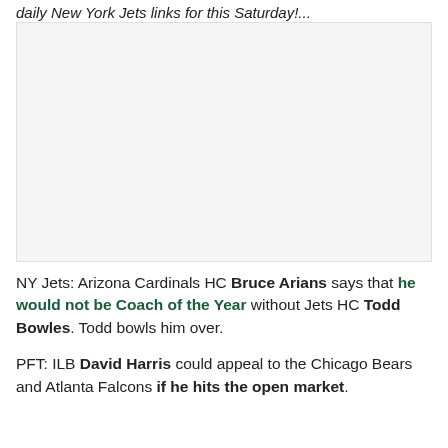daily New York Jets links for this Saturday!...
[Figure (photo): Image placeholder - photo related to NY Jets or Bruce Arians/Todd Bowles story]
NY Jets: Arizona Cardinals HC Bruce Arians says that he would not be Coach of the Year without Jets HC Todd Bowles. Todd bowls him over.
PFT: ILB David Harris could appeal to the Chicago Bears and Atlanta Falcons if he hits the open market.